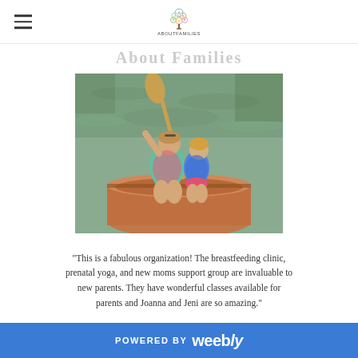About Families - navigation header with hamburger menu and logo
About Families
[Figure (photo): A woman and a young child sitting together in the front of a canoe on a lake. The woman is holding a paddle and wearing a teal shirt with a life vest. The child is wearing a blue life jacket and pink shorts. Water and calm lake visible in background.]
"This is a fabulous organization! The breastfeeding clinic, prenatal yoga, and new moms support group are invaluable to new parents. They have wonderful classes available for parents and Joanna and Jeni are so amazing."
POWERED BY weebly